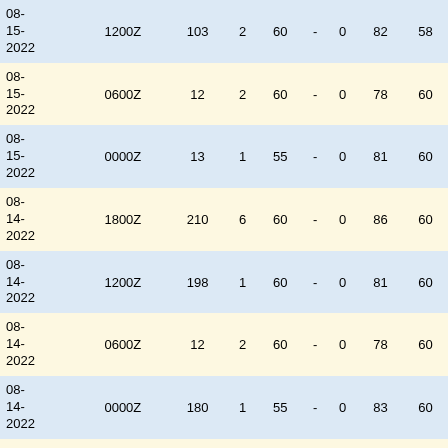| Date | Time | Col3 | Col4 | Col5 | Col6 | Col7 | Col8 | Col9 |
| --- | --- | --- | --- | --- | --- | --- | --- | --- |
| 08-15-2022 | 1200Z | 103 | 2 | 60 | - | 0 | 82 | 58 |
| 08-15-2022 | 0600Z | 12 | 2 | 60 | - | 0 | 78 | 60 |
| 08-15-2022 | 0000Z | 13 | 1 | 55 | - | 0 | 81 | 60 |
| 08-14-2022 | 1800Z | 210 | 6 | 60 | - | 0 | 86 | 60 |
| 08-14-2022 | 1200Z | 198 | 1 | 60 | - | 0 | 81 | 60 |
| 08-14-2022 | 0600Z | 12 | 2 | 60 | - | 0 | 78 | 60 |
| 08-14-2022 | 0000Z | 180 | 1 | 55 | - | 0 | 83 | 60 |
| 08-13-2022 | 1800Z | 188 | 5 | 60 | - | 0 | 85 | 60 |
| 08-13-2022 | 1200Z | 95 | 2 | 60 | - | 0 | 81 | 60 |